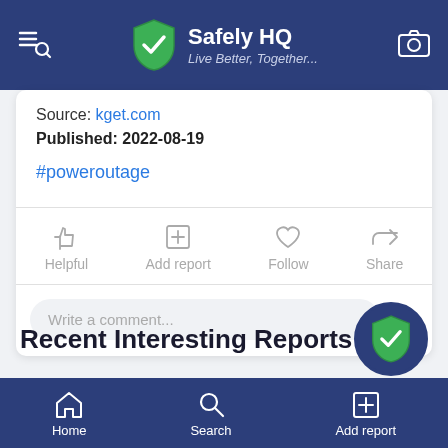Safely HQ — Live Better, Together...
Source: kget.com
Published: 2022-08-19
#poweroutage
Helpful | Add report | Follow | Share
Write a comment...
Recent Interesting Reports
Home | Search | Add report